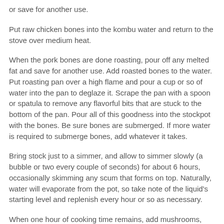or save for another use.
Put raw chicken bones into the kombu water and return to the stove over medium heat.
When the pork bones are done roasting, pour off any melted fat and save for another use. Add roasted bones to the water. Put roasting pan over a high flame and pour a cup or so of water into the pan to deglaze it. Scrape the pan with a spoon or spatula to remove any flavorful bits that are stuck to the bottom of the pan. Pour all of this goodness into the stockpot with the bones. Be sure bones are submerged. If more water is required to submerge bones, add whatever it takes.
Bring stock just to a simmer, and allow to simmer slowly (a bubble or two every couple of seconds) for about 6 hours, occasionally skimming any scum that forms on top. Naturally, water will evaporate from the pot, so take note of the liquid's starting level and replenish every hour or so as necessary.
When one hour of cooking time remains, add mushrooms,